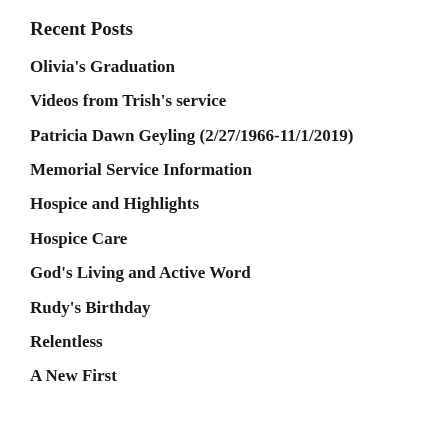Recent Posts
Olivia's Graduation
Videos from Trish's service
Patricia Dawn Geyling (2/27/1966-11/1/2019)
Memorial Service Information
Hospice and Highlights
Hospice Care
God's Living and Active Word
Rudy's Birthday
Relentless
A New First